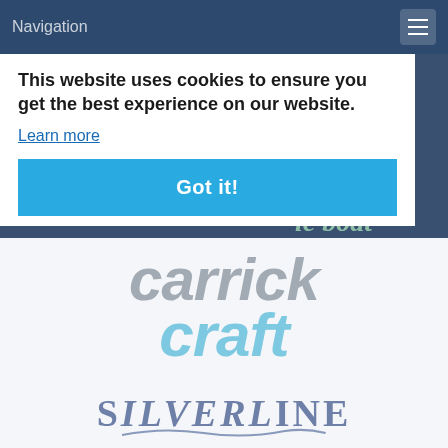Navigation
This website uses cookies to ensure you get the best experience on our website.
Learn more
Got it!
[Figure (logo): Carrick Craft logo — 'carrick' in grey italic bold lettering above 'craft' in light blue italic bold lettering]
[Figure (logo): SilverLine logo — 'SILVERLINE' in blue-grey serif lettering with a swoosh underline]